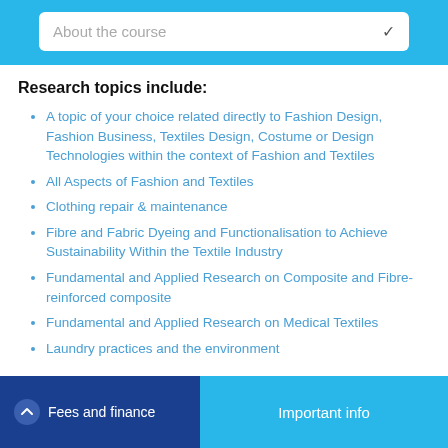About the course
Research topics include:
A topic of your choice related directly to Fashion Design, Fashion Business, Textiles Design, Costume or Design Technologies within the context of Fashion and Textiles
All Aspects of Fashion and Textiles
Clothing repair & maintenance
Fibre and Fabric Dyeing and Functionalisation to Achieve Sustainability Within the Textile Industry
Fundamental and Applied Research on Composite and Fibre-reinforced composite
Fundamental and Applied Research on Medical Textiles
Laundry practices and the environment
Fees and finance | Important info